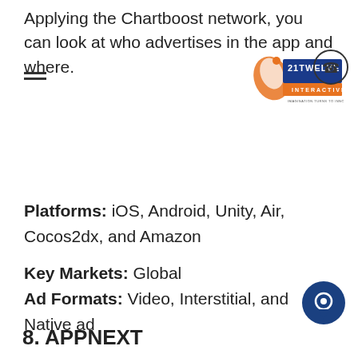Applying the Chartboost network, you can look at who advertises in the app and where.
[Figure (logo): 21Twelve Interactive logo with orange swirl and blue text, tagline 'Imagination turns to innovation']
Platforms: iOS, Android, Unity, Air, Cocos2dx, and Amazon
Key Markets: Global
Ad Formats: Video, Interstitial, and Native ad
Tracking: SDK and custom
8. APPNEXT